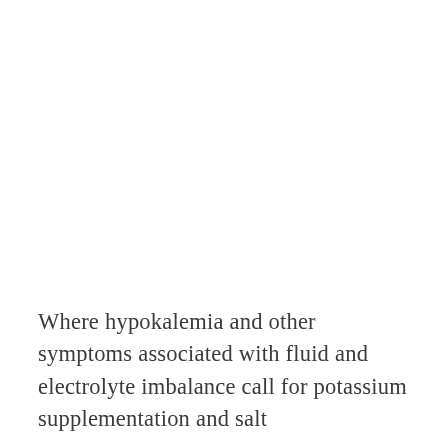Where hypokalemia and other symptoms associated with fluid and electrolyte imbalance call for potassium supplementation and salt